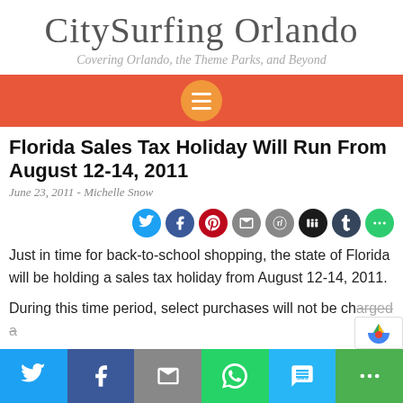CitySurfing Orlando
Covering Orlando, the Theme Parks, and Beyond
[Figure (other): Orange navigation bar with hamburger menu circle button]
Florida Sales Tax Holiday Will Run From August 12-14, 2011
June 23, 2011 - Michelle Snow
[Figure (other): Social share icons row: Twitter, Facebook, Pinterest, Email, Reddit, Digg, Tumblr, More]
Just in time for back-to-school shopping, the state of Florida will be holding a sales tax holiday from August 12-14, 2011.
During this time period, select purchases will not be charged a
[Figure (other): Bottom share bar with Twitter, Facebook, Email, WhatsApp, SMS, and More buttons]